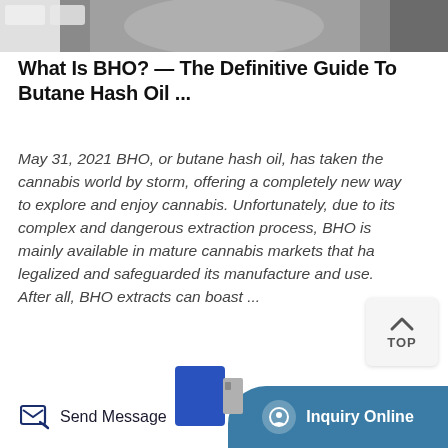[Figure (photo): Partial view of a metallic object (appears to be cannabis/BHO extraction equipment), top portion cropped]
What Is BHO? — The Definitive Guide To Butane Hash Oil ...
May 31, 2021 BHO, or butane hash oil, has taken the cannabis world by storm, offering a completely new way to explore and enjoy cannabis. Unfortunately, due to its complex and dangerous extraction process, BHO is mainly available in mature cannabis markets that ha legalized and safeguarded its manufacture and use. After all, BHO extracts can boast ...
[Figure (screenshot): TOP navigation button with upward arrow chevron, light gray rounded rectangle]
[Figure (photo): Partial bottom of a blue cylindrical object, appears to be cannabis extraction equipment]
Send Message    Inquiry Online